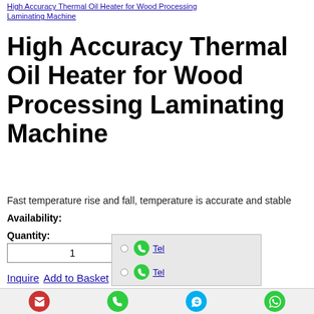High Accuracy Thermal Oil Heater for Wood Processing Laminating Machine
High Accuracy Thermal Oil Heater for Wood Processing Laminating Machine
Fast temperature rise and fall, temperature is accurate and stable
Availability:
Quantity:
1
Inquire  Add to Basket
Model: BDDC-48
Brand: BOBAI
Code: 8419899090
Product Description